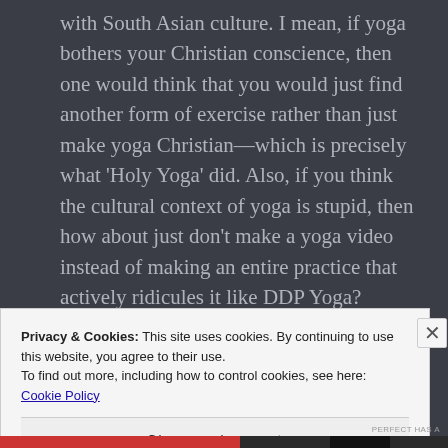with South Asian culture. I mean, if yoga bothers your Christian conscience, then one would think that you would just find another form of exercise rather than just make yoga Christian—which is precisely what 'Holy Yoga' did. Also, if you think the cultural context of yoga is stupid, then how about just don't make a yoga video instead of making an entire practice that actively ridicules it like DDP Yoga?
Privacy & Cookies: This site uses cookies. By continuing to use this website, you agree to their use.
To find out more, including how to control cookies, see here: Cookie Policy
Close and accept
PERFECT HAS A